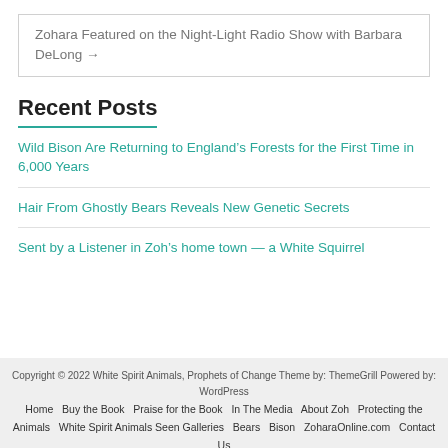Zohara Featured on the Night-Light Radio Show with Barbara DeLong →
Recent Posts
Wild Bison Are Returning to England's Forests for the First Time in 6,000 Years
Hair From Ghostly Bears Reveals New Genetic Secrets
Sent by a Listener in Zoh's home town — a White Squirrel
Copyright © 2022 White Spirit Animals, Prophets of Change Theme by: ThemeGrill Powered by: WordPress
Home   Buy the Book   Praise for the Book   In The Media   About Zoh   Protecting the Animals   White Spirit Animals Seen Galleries   Bears   Bison   ZoharaOnline.com   Contact Us